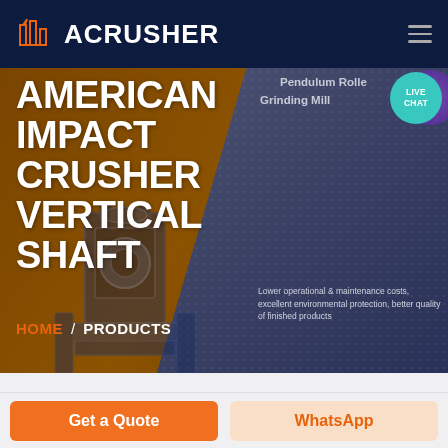ACRUSHER
AMERICAN IMPACT CRUSHER VERTICAL SHAFT
Pendulum Roller Grinding Mill
Lower operational & maintenance costs, excellent environmental protection, better quality of finished products
LIVE CHAT
HOME / PRODUCTS
Get a Quote
WhatsApp